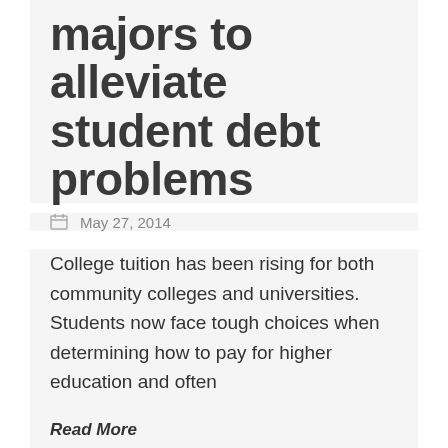majors to alleviate student debt problems
May 27, 2014
College tuition has been rising for both community colleges and universities. Students now face tough choices when determining how to pay for higher education and often
Read More